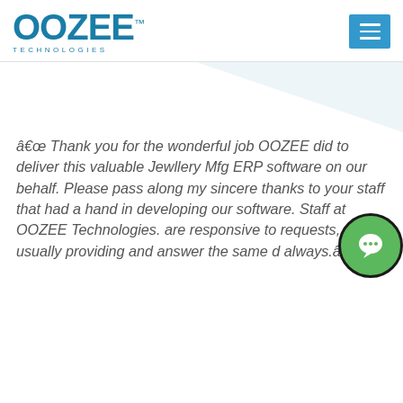[Figure (logo): OOZEE Technologies logo with TM mark and tagline 'TECHNOLOGIES' in spaced letters, blue color]
â€œ Thank you for the wonderful job OOZEE did to deliver this valuable Jewllery Mfg ERP software on our behalf. Please pass along my sincere thanks to your staff that had a hand in developing our software. Staff at OOZEE Technologies. are responsive to requests, usually providing and answer the same d always.â€[]
[Figure (illustration): Green circle chat bubble icon in the bottom right corner]